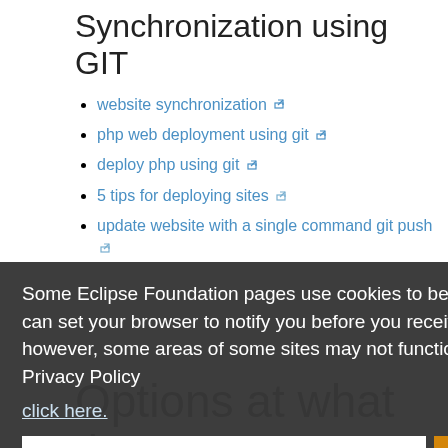Synchronization using GIT
website synchronization
php web deployment using git
deploy php using git
5 tips for deploying sites
update website with a single command git push
Some Eclipse Foundation pages use cookies to better serve you when you return to the site. You can set your browser to notify you before you receive a cookie or turn off cookies. If you do so, however, some areas of some sites may not function properly. To read Eclipse Foundation Privacy Policy click here.
link
github
more
Options at what time